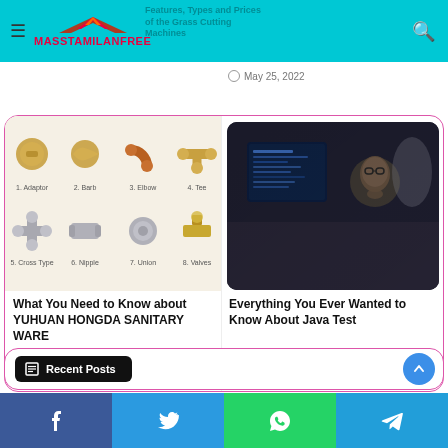MASSTAMILANFREE
Features, Types and Prices of the Grass Cutting Machines
May 25, 2022
[Figure (photo): Various plumbing fittings: 1. Adaptor, 2. Barb, 3. Elbow, 4. Tee, 5. Cross Type, 6. Nipple, 7. Union, 8. Valves]
What You Need to Know about YUHUAN HONGDA SANITARY WARE
June 9, 2022
[Figure (photo): Man with glasses looking thoughtfully at a computer monitor in a dark setting]
Everything You Ever Wanted to Know About Java Test
4 days ago
Recent Posts
Facebook | Twitter | WhatsApp | Telegram